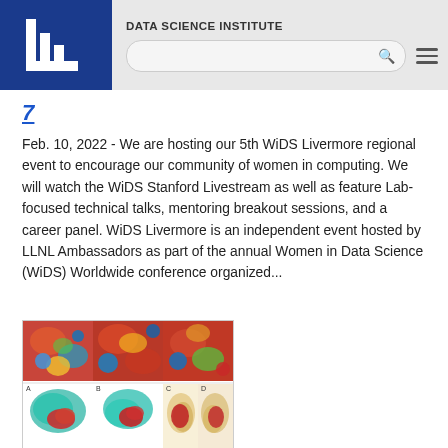DATA SCIENCE INSTITUTE
7
Feb. 10, 2022 - We are hosting our 5th WiDS Livermore regional event to encourage our community of women in computing. We will watch the WiDS Stanford Livestream as well as feature Lab-focused technical talks, mentoring breakout sessions, and a career panel. WiDS Livermore is an independent event hosted by LLNL Ambassadors as part of the annual Women in Data Science (WiDS) Worldwide conference organized...
[Figure (photo): Scientific visualization images showing COVID-19 protein structures in multiple panels — top row shows colorful molecular surface renderings, bottom row shows teal and red protein structures against white and gold backgrounds.]
COVID-19 R&D: Computing responds to pandemic